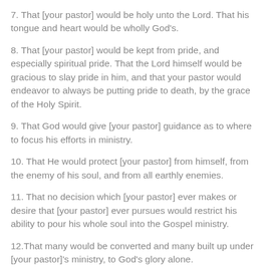7. That [your pastor] would be holy unto the Lord. That his tongue and heart would be wholly God's.
8. That [your pastor] would be kept from pride, and especially spiritual pride. That the Lord himself would be gracious to slay pride in him, and that your pastor would endeavor to always be putting pride to death, by the grace of the Holy Spirit.
9. That God would give [your pastor] guidance as to where to focus his efforts in ministry.
10. That He would protect [your pastor] from himself, from the enemy of his soul, and from all earthly enemies.
11. That no decision which [your pastor] ever makes or desire that [your pastor] ever pursues would restrict his ability to pour his whole soul into the Gospel ministry.
12.That many would be converted and many built up under [your pastor]'s ministry, to God's glory alone.